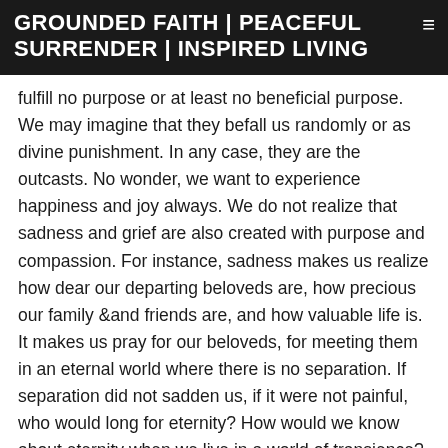GROUNDED FAITH | PEACEFUL SURRENDER | INSPIRED LIVING
fulfill no purpose or at least no beneficial purpose. We may imagine that they befall us randomly or as divine punishment. In any case, they are the outcasts. No wonder, we want to experience happiness and joy always. We do not realize that sadness and grief are also created with purpose and compassion. For instance, sadness makes us realize how dear our departing beloveds are, how precious our family &and friends are, and how valuable life is. It makes us pray for our beloveds, for meeting them in an eternal world where there is no separation. If separation did not sadden us, if it were not painful, who would long for eternity? How would we know about eternity when we live in a world of transience? Because separation resulting from transience hurts; it's painful. And it is through this pain that we are taught how much we long for eternity. If the